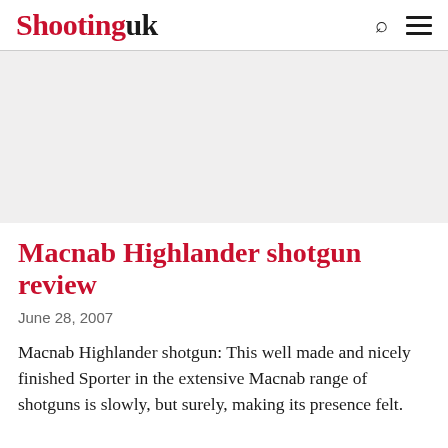Shooting uk
[Figure (photo): Hero image area — light grey placeholder for a shotgun or related photograph]
Macnab Highlander shotgun review
June 28, 2007
Macnab Highlander shotgun: This well made and nicely finished Sporter in the extensive Macnab range of shotguns is slowly, but surely, making its presence felt.